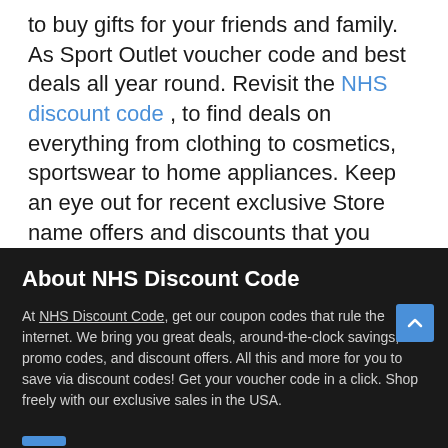to buy gifts for your friends and family. As Sport Outlet voucher code and best deals all year round. Revisit the NHS discount code , to find deals on everything from clothing to cosmetics, sportswear to home appliances. Keep an eye out for recent exclusive Store name offers and discounts that you simply will not realize anyplace else.
About NHS Discount Code
At NHS Discount Code, get our coupon codes that rule the internet. We bring you great deals, around-the-clock savings, promo codes, and discount offers. All this and more for you to save via discount codes! Get your voucher code in a click. Shop freely with our exclusive sales in the USA.